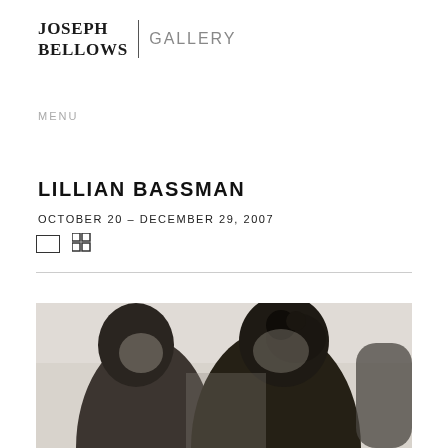JOSEPH BELLOWS | GALLERY
MENU
LILLIAN BASSMAN
OCTOBER 20 – DECEMBER 29, 2007
[Figure (photo): Black and white photograph showing two figures close together, one wearing a veil or netted headpiece, in an intimate or dramatic pose]